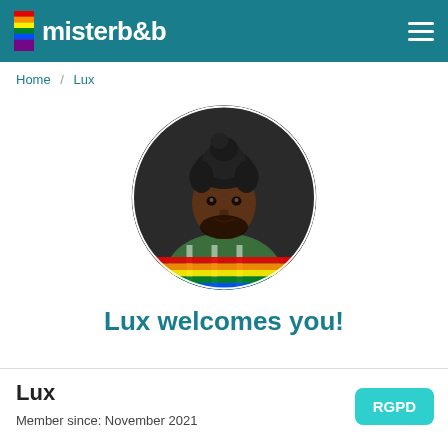misterb&b
Home / Lux
[Figure (photo): Circular profile photo of Lux, a person with dark hair styled upward, beard, wearing a green-striped shirt and a rainbow flag scarf. A rainbow pride stripe overlays the bottom of the circular photo.]
Lux welcomes you!
Lux
Member since: November 2021